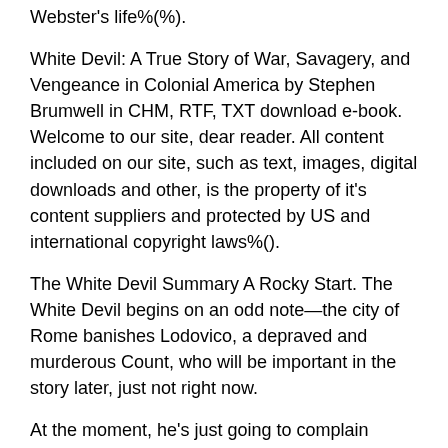Webster's life%(%).
White Devil: A True Story of War, Savagery, and Vengeance in Colonial America by Stephen Brumwell in CHM, RTF, TXT download e-book. Welcome to our site, dear reader. All content included on our site, such as text, images, digital downloads and other, is the property of it's content suppliers and protected by US and international copyright laws%().
The White Devil Summary A Rocky Start. The White Devil begins on an odd note—the city of Rome banishes Lodovico, a depraved and murderous Count, who will be important in the story later, just not right now.
At the moment, he's just going to complain about getting banished. The real main characters are introduced in scene two: Vittoria Corombona, an Italian noblewoman.
The White Devil is one of the two most popular plays written by John Webster, the other being The Duchess of Malfi. The White Devil was first performed in at the Red Bull theater, where it was largely